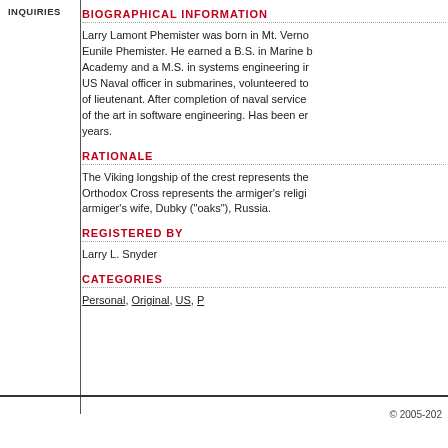INQUIRIES
BIOGRAPHICAL INFORMATION
Larry Lamont Phemister was born in Mt. Verno... Eunile Phemister. He earned a B.S. in Marine b... Academy and a M.S. in systems engineering ir... US Naval officer in submarines, volunteered to... of lieutenant. After completion of naval service... of the art in software engineering. Has been er... years.
RATIONALE
The Viking longship of the crest represents the... Orthodox Cross represents the armiger's religi... armiger's wife, Dubky ("oaks"), Russia.
REGISTERED BY
Larry L. Snyder
CATEGORIES
Personal, Original, US, P
© 2005-202